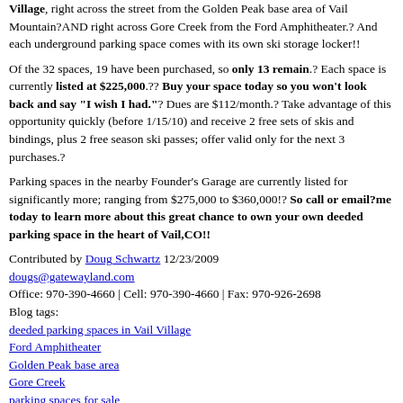Village, right across the street from the Golden Peak base area of Vail Mountain?AND right across Gore Creek from the Ford Amphitheater.? And each underground parking space comes with its own ski storage locker!!
Of the 32 spaces, 19 have been purchased, so only 13 remain.? Each space is currently listed at $225,000.?? Buy your space today so you won't look back and say "I wish I had."? Dues are $112/month.? Take advantage of this opportunity quickly (before 1/15/10) and receive 2 free sets of skis and bindings, plus 2 free season ski passes; offer valid only for the next 3 purchases.?
Parking spaces in the nearby Founder's Garage are currently listed for significantly more; ranging from $275,000 to $360,000!? So call or email?me today to learn more about this great chance to own your own deeded parking space in the heart of Vail,CO!!
Contributed by Doug Schwartz 12/23/2009
dougs@gatewayland.com
Office: 970-390-4660 | Cell: 970-390-4660 | Fax: 970-926-2698
Blog tags:
deeded parking spaces in Vail Village
Ford Amphitheater
Golden Peak base area
Gore Creek
parking spaces for sale